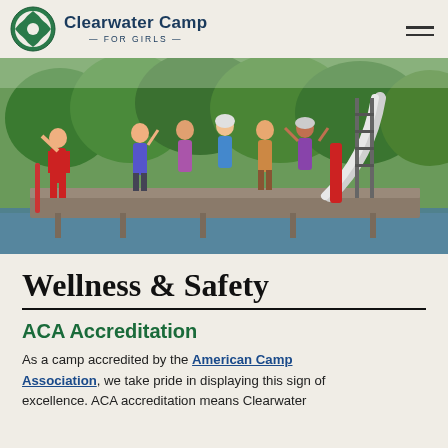Clearwater Camp FOR GIRLS
[Figure (photo): Children and a lifeguard on a dock with a water slide and ladder on a lake, surrounded by trees. Several girls in swimsuits are waving, and a lifeguard in a red swimsuit holds a flotation device.]
Wellness & Safety
ACA Accreditation
As a camp accredited by the American Camp Association, we take pride in displaying this sign of excellence. ACA accreditation means Clearwater